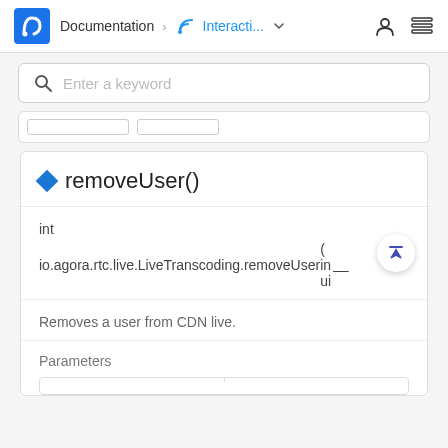Documentation > Interacti... (dropdown) [user icon] [stack icon]
[Figure (screenshot): Search box with magnifying glass icon and placeholder text 'Enter a keyword']
◆ removeUser()
int
io.agora.rtc.live.LiveTranscoding.removeUser  (  in  ui
Removes a user from CDN live.
Parameters